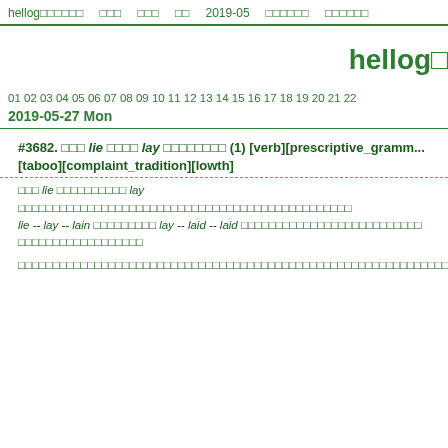hellog□□□□□□ □□□ □□□ □□ 2019-05 □□□□□□ □□□□□□
hellog□
01 02 03 04 05 06 07 08 09 10 11 12 13 14 15 16 17 18 19 20 21 22
2019-05-27 Mon
#3682. □□□ lie □□□□ lay □□□□□□□□ (1) [verb][prescriptive_gramm... [taboo][complaint_tradition][lowth]
□□□ lie □□□□□□□□□□ lay □□□□□□□□□□□□□□□□□□□□□□□□□□□□□□□□□□□□□□□□□□□□□□□□
lie -- lay -- lain □□□□□□□□□ lay -- laid -- laid □□□□□□□□□□□□□□□□□□□□□□□□□□
□□□□□□□□□□□□□□□□□□
□□□□□□□□□□□□□□□□□□□□□□□□□□□□□□□□□□□□□□□□□□□□□□□□□□□□□□□□□□□□□□□□□□□□□□